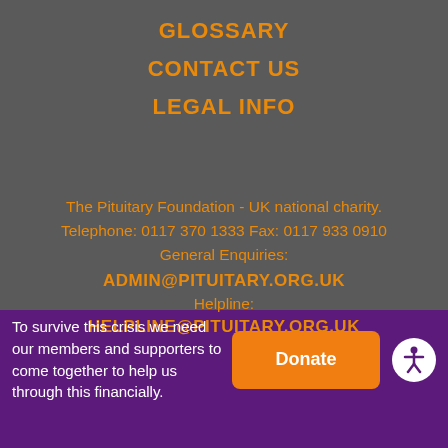GLOSSARY
CONTACT US
LEGAL INFO
The Pituitary Foundation - UK national charity. Telephone: 0117 370 1333 Fax: 0117 933 0910 General Enquiries:
ADMIN@PITUITARY.ORG.UK
Helpline:
HELPLINE@PITUITARY.ORG.UK
To survive this crisis we need our members and supporters to come together to help us through this financially.
Donate